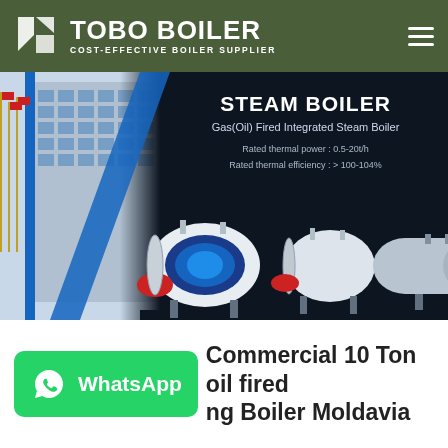TOBO BOILER — COST-EFFECTIVE BOILER SUPPLIER
[Figure (screenshot): Banner showing Gas(Oil) Fired Integrated Steam Boiler with building exterior and multiple boiler units. Text: STEAM BOILER, Gas(Oil) Fired Integrated Steam Boiler, Rated thermal power: 0.5-20t/h, Rated thermal efficiency: > 100-104%]
Commercial 10 Ton oil fired ng Boiler Moldavia
[Figure (logo): WhatsApp button - green rounded rectangle with WhatsApp phone icon and text 'WhatsApp']